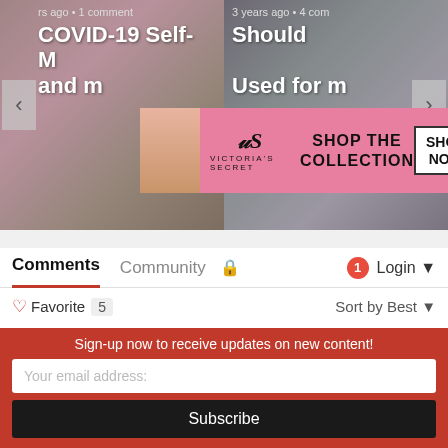[Figure (screenshot): Carousel with two article thumbnails: left shows 'COVID-19 Self-M... and M...' with meta 'rs ago • 1 comment', right shows 'Should ... Used for m...' with meta '3 years ago • 4 com'. A Victoria's Secret ad banner overlays the center.]
Comments
Community
Login
♡ Favorite 5
Sort by Best
Join the discussion...
LOG IN WITH
Sign-up now to receive updates on new content!
Your email address:
Subscribe